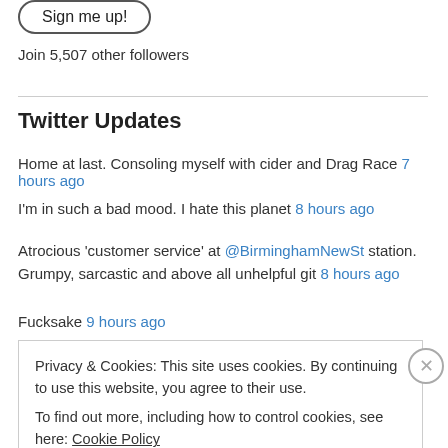[Figure (other): Sign me up button (rounded rectangle outline)]
Join 5,507 other followers
Twitter Updates
Home at last. Consoling myself with cider and Drag Race 7 hours ago
I'm in such a bad mood. I hate this planet 8 hours ago
Atrocious 'customer service' at @BirminghamNewSt station. Grumpy, sarcastic and above all unhelpful git 8 hours ago
Fucksake 9 hours ago
Privacy & Cookies: This site uses cookies. By continuing to use this website, you agree to their use. To find out more, including how to control cookies, see here: Cookie Policy